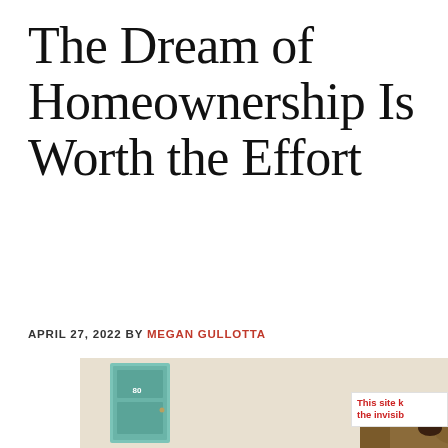The Dream of Homeownership Is Worth the Effort
APRIL 27, 2022 BY MEGAN GULLOTTA
[Figure (photo): A father reading or looking at something with his young daughter on a couch in a home interior, with a teal front door visible in the background showing the number 80.]
This site k the invisib